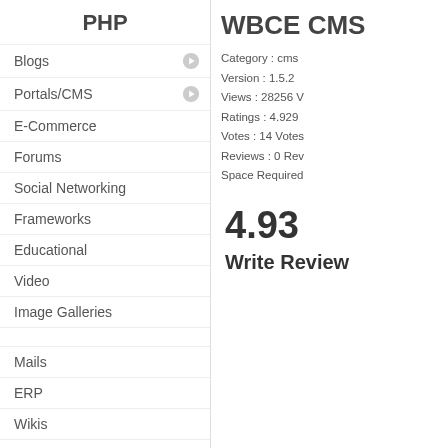PHP
Blogs
Portals/CMS
E-Commerce
Forums
Social Networking
Frameworks
Educational
Video
Image Galleries
Mails
ERP
Wikis
Others
WBCE CMS
Category : cms
Version : 1.5.2
Views : 28256 V
Ratings : 4.929
Votes : 14 Votes
Reviews : 0 Rev
Space Required
4.93
Write Review